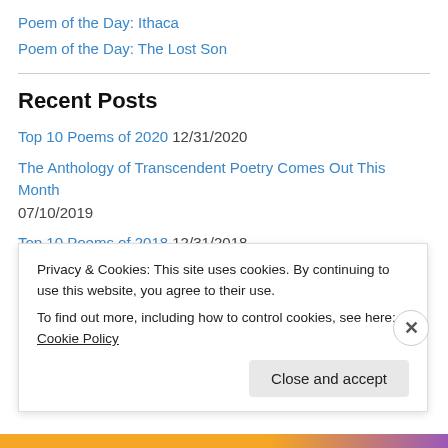Poem of the Day: Ithaca
Poem of the Day: The Lost Son
Recent Posts
Top 10 Poems of 2020 12/31/2020
The Anthology of Transcendent Poetry Comes Out This Month 07/10/2019
Top 10 Poems of 2018 12/31/2018
SPIRITUAL FICTION PRIZE! 08/01/2018
Poem of the Month: Visitation 07/01/2018
Poem of the Month: Secret Wedding 06/01/2018
Poem of the Month: This World Is a Grave 05/01/2018
Privacy & Cookies: This site uses cookies. By continuing to use this website, you agree to their use. To find out more, including how to control cookies, see here: Cookie Policy
Close and accept